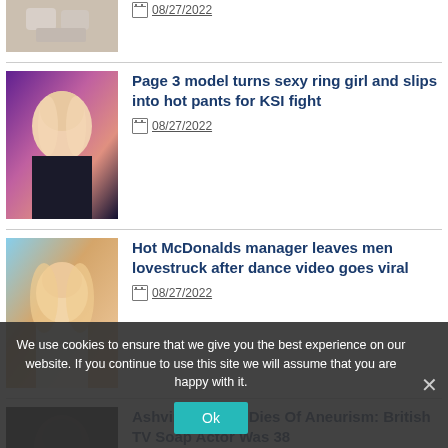[Figure (photo): Partial thumbnail of a person's hands or object, cropped at top]
08/27/2022
[Figure (photo): Woman with blonde and purple hair, wearing black top]
Page 3 model turns sexy ring girl and slips into hot pants for KSI fight
08/27/2022
[Figure (photo): Blonde woman with curly hair, wearing white outfit, looking sideways]
Hot McDonalds manager leaves men lovestruck after dance video goes viral
08/27/2022
[Figure (photo): Dark portrait photo, partially visible]
Ashvin Luxinon Dies Of Aneurism: British TV Soap Actor Was 38
08/27/2022
We use cookies to ensure that we give you the best experience on our website. If you continue to use this site we will assume that you are happy with it.